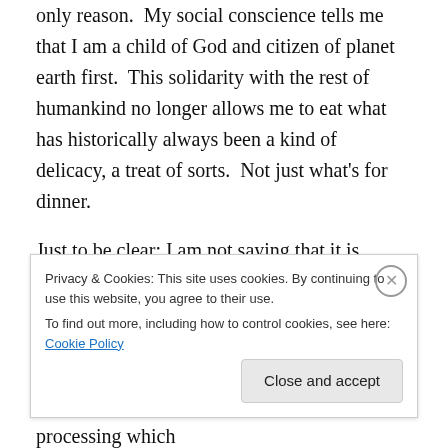only reason.  My social conscience tells me that I am a child of God and citizen of planet earth first.  This solidarity with the rest of humankind no longer allows me to eat what has historically always been a kind of delicacy, a treat of sorts.  Not just what's for dinner.
Just to be clear; I am not saying that it is wrong to kill animals for food.  I am saying it is wrong to treat animals unethically and make them suffer.  I am not saying there are no health benefits to eating meat and animal products.  I am saying that mainstream processing which
Privacy & Cookies: This site uses cookies. By continuing to use this website, you agree to their use.
To find out more, including how to control cookies, see here: Cookie Policy